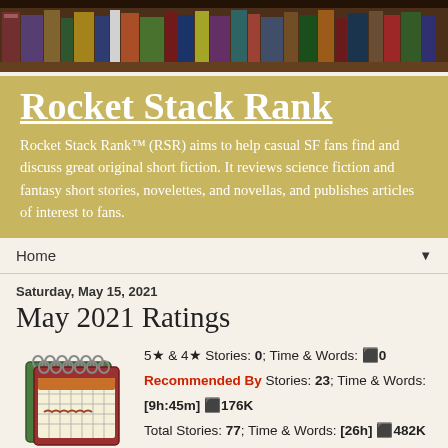[Figure (photo): Bookshelf with colorful books as header banner image]
Rocket Stack Rank
Rocket Stack Rank™ (RSR) aims to help casual SF fans find and discuss great original short fiction. It reviews science fiction and fantasy short stories, novelettes, and novellas, and publishes articles of interest to fans.
Home ▼
Saturday, May 15, 2021
May 2021 Ratings
[Figure (illustration): Cartoon illustration of stacked spiral notebooks/calendars in red and green]
5★ & 4★ Stories: 0; Time & Words: ⬛0
Recommended By Stories: 23; Time & Words: [9h:45m] ⬛176K
Total Stories: 77; Time & Words: [26h] ⬛482K